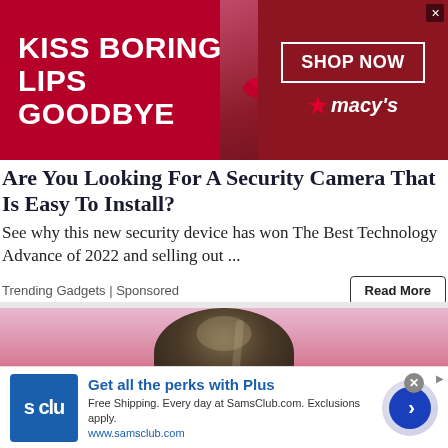[Figure (photo): Macy's advertisement banner with 'KISS BORING LIPS GOODBYE' text, a woman's lips/face in center, and 'SHOP NOW' button with Macy's star logo on red background]
Are You Looking For A Security Camera That Is Easy To Install?
See why this new security device has won The Best Technology Advance of 2022 and selling out ...
Trending Gadgets | Sponsored
[Figure (photo): Close-up photo of the top of a woman's head with dark hair pulled up, pink background]
[Figure (photo): Sam's Club advertisement: 'Get all the perks with Plus' - Free Shipping. Every day at SamsClub.com. Exclusions apply. www.samsclub.com with blue logo and CTA button]